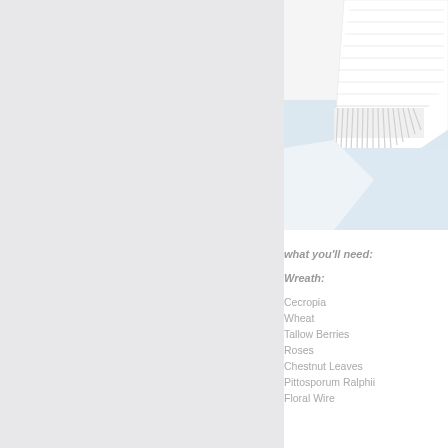[Figure (photo): Close-up photograph of a white knitted or woven textile/fabric corner with fringe, against a light blue-white background]
what you'll need:
Wreath:
Cecropia
Wheat
Tallow Berries
Roses
Chestnut Leaves
Pittosporum Ralphii
Floral Wire